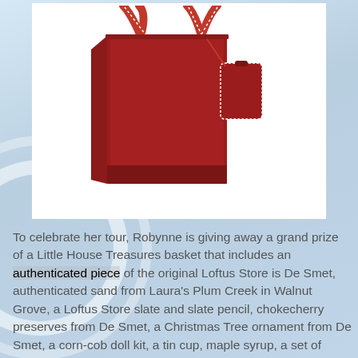[Figure (photo): A red gift bag with red and white patterned ribbon handles and a red gift tag with white stitching detail, on a white background.]
To celebrate her tour, Robynne is giving away a grand prize of a Little House Treasures basket that includes an authenticated piece of the original Loftus Store is De Smet, authenticated sand from Laura's Plum Creek in Walnut Grove, a Loftus Store slate and slate pencil, chokecherry preserves from De Smet, a Christmas Tree ornament from De Smet, a corn-cob doll kit, a tin cup, maple syrup, a set of pioneer recipe books, Laura Ingalls Wilder's actual gingerbread recipes, and other treasures from various Little